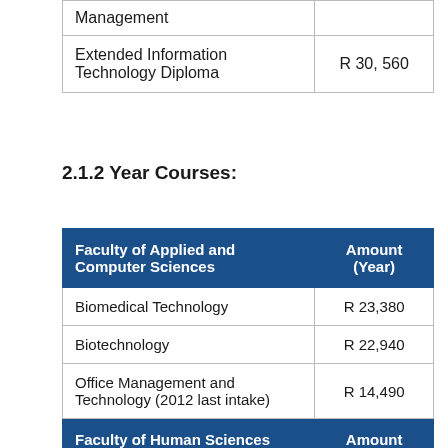| Management |  |
| Extended Information Technology Diploma | R 30, 560 |
2.1.2 Year Courses:
| Faculty of Applied and Computer Sciences | Amount (Year) |
| --- | --- |
| Biomedical Technology | R 23,380 |
| Biotechnology | R 22,940 |
| Office Management and Technology (2012 last intake) | R 14,490 |
| Faculty of Human Sciences | Amount |